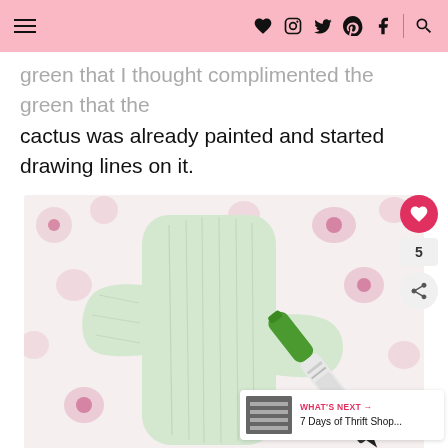Navigation header with hamburger menu and social icons (heart, instagram, twitter, pinterest, facebook, search)
green that I thought complimented the green that the cactus was already painted and started drawing lines on it.
[Figure (photo): A light green painted wooden cactus cutout shape lying on a floral fabric background (white with pink flowers). A green Sharpie marker is resting on the cactus with lines being drawn on it.]
WHAT'S NEXT → 7 Days of Thrift Shop...